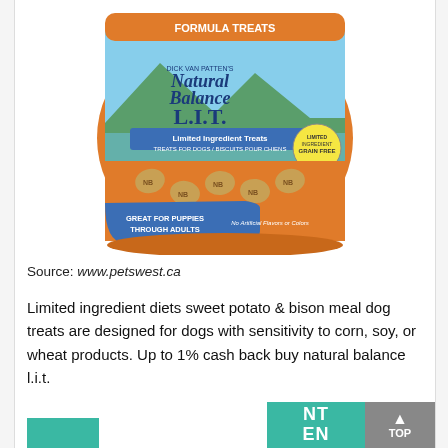[Figure (photo): Product photo of Natural Balance L.I.T. Limited Ingredient Treats bag for dogs. Orange and blue packaging showing dog treat biscuits, labeled 'Great for Puppies Through Adults', 'Grain Free', 'No Artificial Flavors or Colors'. Formula Treats banner at top.]
Source: www.petswest.ca
Limited ingredient diets sweet potato & bison meal dog treats are designed for dogs with sensitivity to corn, soy, or wheat products. Up to 1% cash back buy natural balance l.i.t.
[Figure (other): Partial teal/green colored banner or advertisement boxes visible at the bottom of the page, with white text partially visible: 'NT' and 'EN'. A dark gray 'TOP' scroll button is visible on the right.]